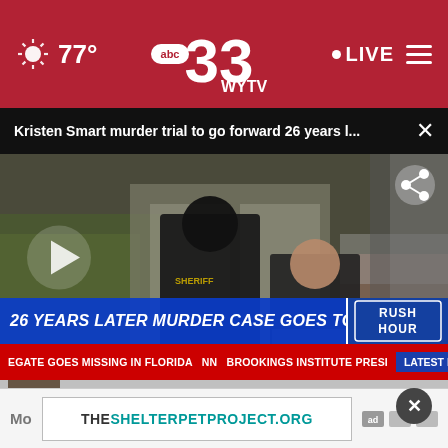77° | ABC 33 WYTV | LIVE
Kristen Smart murder trial to go forward 26 years l...
[Figure (screenshot): News video screenshot showing two men standing outdoors, one wearing a black hoodie with SHERIFF text and one in a dark t-shirt. Lower third graphic reads: '26 YEARS LATER MURDER CASE GOES TO TRIAL, BODY NEVER FOUND' with a 'RUSH HOUR' badge. Ticker at bottom reads: 'EGATE GOES MISSING IN FLORIDA  BROOKINGS INSTITUTE PRESI  LATEST HEADLINES  NEWSNATION']
THESHELTERPETPROJECT.ORG